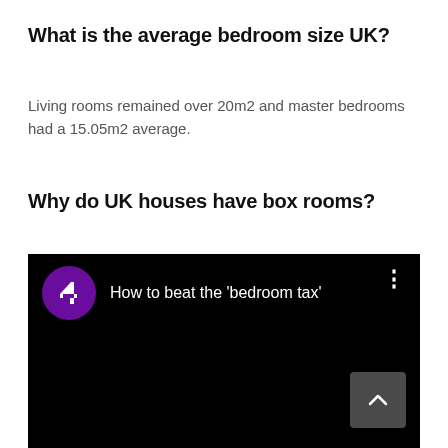What is the average bedroom size UK?
Living rooms remained over 20m2 and master bedrooms had a 15.05m2 average.
Why do UK houses have box rooms?
[Figure (screenshot): YouTube-style video thumbnail with Channel 4 logo and title 'How to beat the bedroom tax' on a black background, with a scroll-up button in the bottom right corner.]